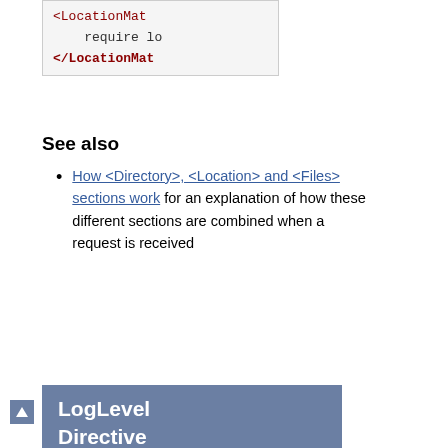[Figure (screenshot): Code snippet showing XML-style LocationMatch closing tags with 'require lo' and '</LocationMat' text in a gray code box]
See also
How <Directory>, <Location> and <Files> sections work for an explanation of how these different sections are combined when a request is received
LogLevel Directive
| Field | Value |
| --- | --- |
| Description: | Controls the verbosity of the ErrorLog |
| Syntax: | LogLevel [module:]level [module:level] |